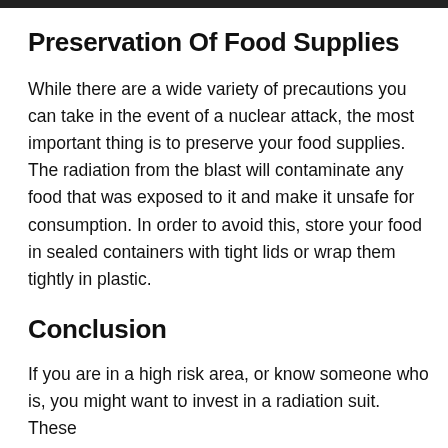Preservation Of Food Supplies
While there are a wide variety of precautions you can take in the event of a nuclear attack, the most important thing is to preserve your food supplies. The radiation from the blast will contaminate any food that was exposed to it and make it unsafe for consumption. In order to avoid this, store your food in sealed containers with tight lids or wrap them tightly in plastic.
Conclusion
If you are in a high risk area, or know someone who is, you might want to invest in a radiation suit. These